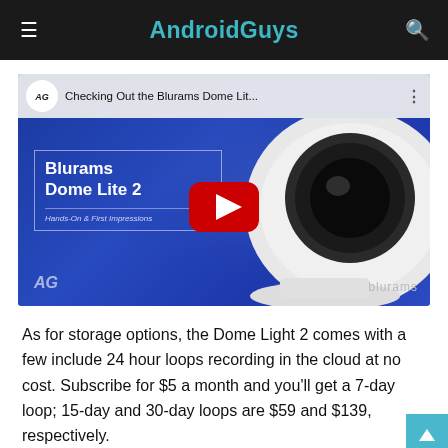AndroidGuys
[Figure (screenshot): YouTube video thumbnail showing 'Checking Out the Blurams Dome Lit...' with the AndroidGuys logo, a Blurams Dome Lite 2 security camera, a red YouTube play button, and text 'Hands-On & First Impressions']
As for storage options, the Dome Light 2 comes with a few include 24 hour loops recording in the cloud at no cost. Subscribe for $5 a month and you'll get a 7-day loop; 15-day and 30-day loops are $59 and $139, respectively.